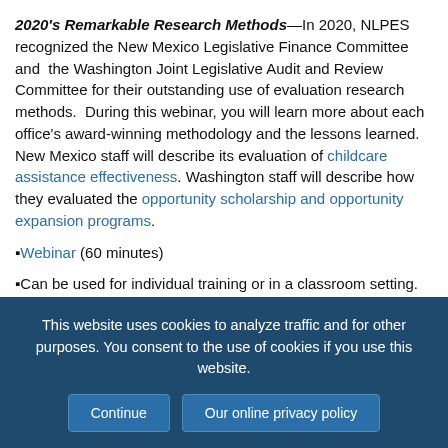2020's Remarkable Research Methods—In 2020, NLPES recognized the New Mexico Legislative Finance Committee and the Washington Joint Legislative Audit and Review Committee for their outstanding use of evaluation research methods. During this webinar, you will learn more about each office's award-winning methodology and the lessons learned. New Mexico staff will describe its evaluation of childcare assistance effectiveness. Washington staff will describe how they evaluated the opportunity scholarship and opportunity expansion programs.
Webinar (60 minutes)
Can be used for individual training or in a classroom setting.
This website uses cookies to analyze traffic and for other purposes. You consent to the use of cookies if you use this website.